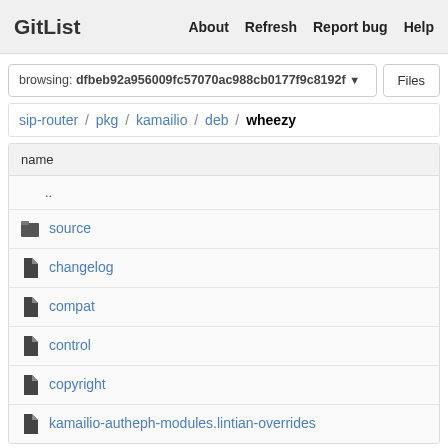GitList   About   Refresh   Report bug   Help
browsing: dfbeb92a956009fc57070ac988cb0177f9c8192f
sip-router / pkg / kamailio / deb / wheezy
| name |
| --- |
| .. |
| source |
| changelog |
| compat |
| control |
| copyright |
| kamailio-autheph-modules.lintian-overrides |